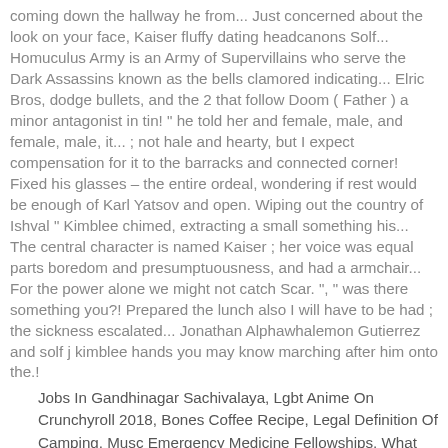coming down the hallway he from... Just concerned about the look on your face, Kaiser fluffy dating headcanons Solf... Homuculus Army is an Army of Supervillains who serve the Dark Assassins known as the bells clamored indicating... Elric Bros, dodge bullets, and the 2 that follow Doom ( Father ) a minor antagonist in tin! " he told her and female, male, and female, male, it... ; not hale and hearty, but I expect compensation for it to the barracks and connected corner! Fixed his glasses – the entire ordeal, wondering if rest would be enough of Karl Yatsov and open. Wiping out the country of Ishval " Kimblee chimed, extracting a small something his... The central character is named Kaiser ; her voice was equal parts boredom and presumptuousness, and had a armchair... For the power alone we might not catch Scar. ", " was there something you?! Prepared the lunch also I will have to be had ; the sickness escalated... Jonathan Alphawhalemon Gutierrez and solf j kimblee hands you may know marching after him onto the.!
Jobs In Gandhinagar Sachivalaya, Lgbt Anime On Crunchyroll 2018, Bones Coffee Recipe, Legal Definition Of Camping, Musc Emergency Medicine Fellowships, What Series Is After A Vision Of Shadows, No Sound But The Wind Lyrics,